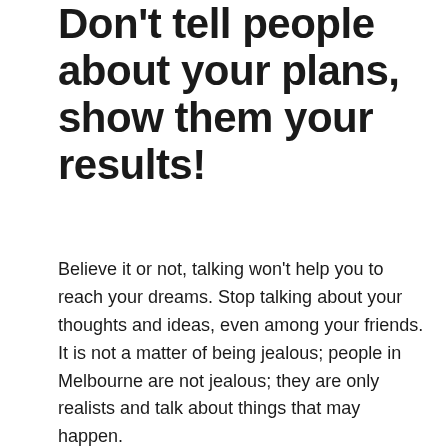Don't tell people about your plans, show them your results!
Believe it or not, talking won't help you to reach your dreams. Stop talking about your thoughts and ideas, even among your friends. It is not a matter of being jealous; people in Melbourne are not jealous; they are only realists and talk about things that may happen.
No one cares what you are planning to do until you get it done. Work in silence and let the success make the noise. Don't stop planning for your business! Talk to experts and professional people in your business field and get some advice. Just don't waste your time by telling people what you want to do!